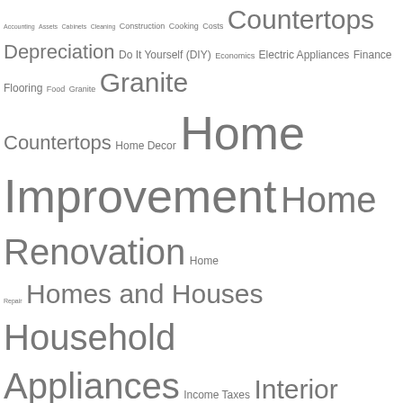Accounting Assets Cabinets Cleaning Construction Cooking Costs Countertops Depreciation Do It Yourself (DIY) Economics Electric Appliances Finance Flooring Food Granite Granite Countertops Home Decor Home Improvement Home Renovation Home Repair Homes and Houses Household Appliances Income Taxes Interior Design Kitchen Appliances Kitchen Cabinets Kitchen Design Kitchens Kitchen Utensils and Accessories Laundry Natural Stone Paint Painting and Paintings (art) Quartz (mineral) Real Estate Real Estate Investing Real Estate Rentals Refrigeration Refrigerators Residential Construction Tax Deductions Taxes Tax Law Washing Machines